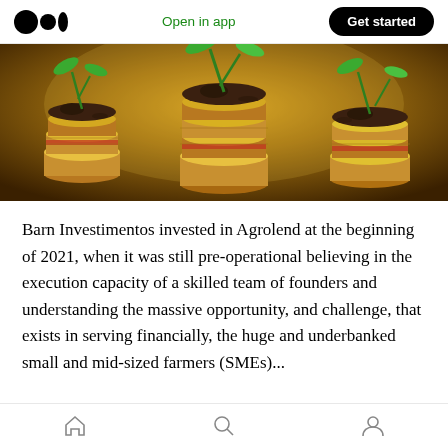Open in app  Get started
[Figure (photo): Stacks of gold coins with green plant seedlings growing from soil on top of each stack, set against a warm blurred background. Represents agricultural investment growth.]
Barn Investimentos invested in Agrolend at the beginning of 2021, when it was still pre-operational believing in the execution capacity of a skilled team of founders and understanding the massive opportunity, and challenge, that exists in serving financially, the huge and underbanked [small and mid-sized farmers (SMEs)...]
Home  Search  Profile